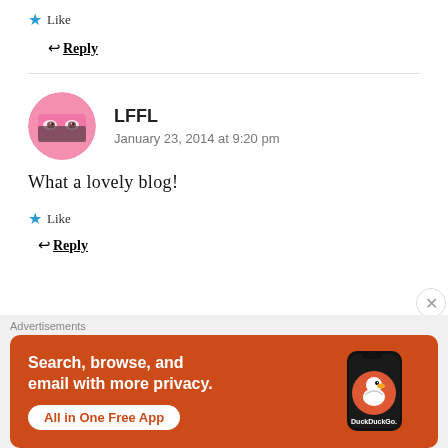★ Like
↩ Reply
[Figure (photo): Round pink avatar showing a person's eyes with a pink mask or garment covering the lower face]
LFFL
January 23, 2014 at 9:20 pm
What a lovely blog!
★ Like
↩ Reply
Advertisements
[Figure (screenshot): DuckDuckGo advertisement banner with orange background: Search, browse, and email with more privacy. All in One Free App. Shows a phone with DuckDuckGo logo.]